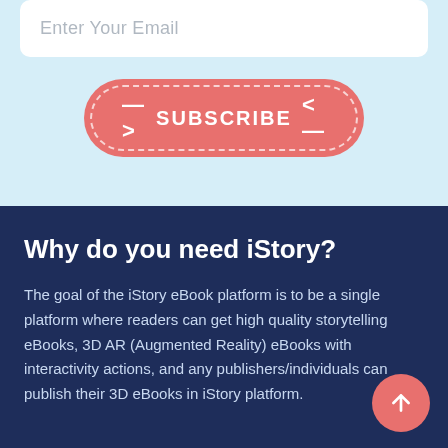Enter Your Email
[Figure (illustration): Red/coral rounded subscribe button with dashed border outline, arrows on both sides, and white bold text reading SUBSCRIBE]
Why do you need iStory?
The goal of the iStory eBook platform is to be a single platform where readers can get high quality storytelling eBooks, 3D AR (Augmented Reality) eBooks with interactivity actions, and any publishers/individuals can publish their 3D eBooks in iStory platform.